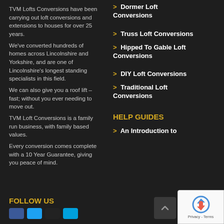TVM Lofts Conversions have been carrying out loft conversions and extensions to houses for over 25 years.
We've converted hundreds of homes across Lincolnshire and Yorkshire, and are one of Lincolnshire's longest standing specialists in this field.
We can also give you a roof lift – fast; without you ever needing to move out.
TVM Loft Conversions is a family run business, with family based values.
Every conversion comes complete with a 10 Year Guarantee, giving you peace of mind.
FOLLOW US
> Dormer Loft Conversions
> Truss Loft Conversions
> Hipped To Gable Loft Conversions
> DIY Loft Conversions
> Traditional Loft Conversions
HELP GUIDES
> An Introduction to